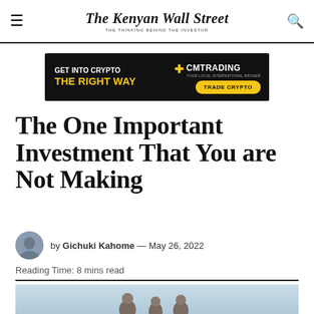The Kenyan Wall Street — THE THINKING BEHIND THE INVESTOR
[Figure (other): CM Trading advertisement banner: GET INTO CRYPTO THE RIGHT WAY — TRADE CRYPTO]
The One Important Investment That You are Not Making
by Gichuki Kahome — May 26, 2022
Reading Time: 8 mins read
[Figure (photo): Older people in outdoor setting with sky background]